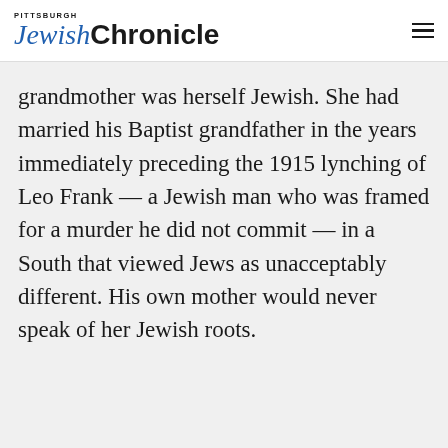Pittsburgh Jewish Chronicle
grandmother was herself Jewish. She had married his Baptist grandfather in the years immediately preceding the 1915 lynching of Leo Frank — a Jewish man who was framed for a murder he did not commit — in a South that viewed Jews as unacceptably different. His own mother would never speak of her Jewish roots.